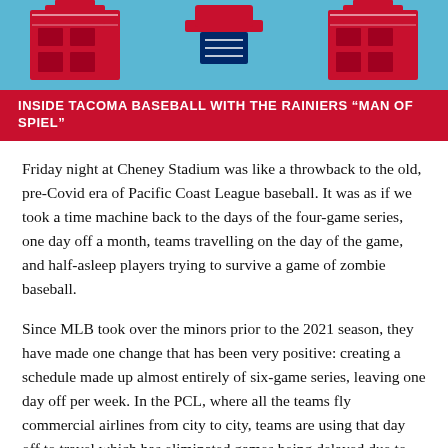[Figure (illustration): Banner illustration with red and blue baseball-themed graphic showing stadium/trophy imagery on a light blue background]
INSIDE TACOMA BASEBALL WITH THE RAINIERS “MAN OF SPIEL”
Friday night at Cheney Stadium was like a throwback to the old, pre-Covid era of Pacific Coast League baseball. It was as if we took a time machine back to the days of the four-game series, one day off a month, teams travelling on the day of the game, and half-asleep players trying to survive a game of zombie baseball.
Since MLB took over the minors prior to the 2021 season, they have made one change that has been very positive: creating a schedule made up almost entirely of six-game series, leaving one day off per week. In the PCL, where all the teams fly commercial airlines from city to city, teams are using that day off to travel which has eliminated games being delayed due to travel problems.